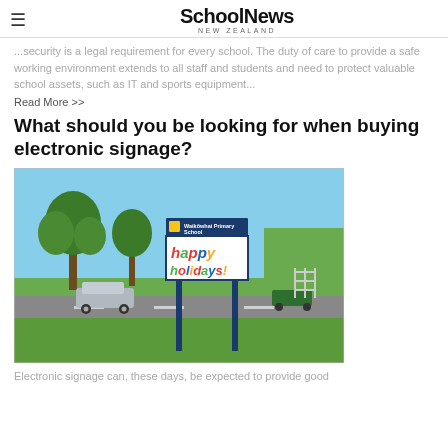School News New Zealand
...security is a legal requirement for every school. The duty of care to provide a safe working environment extends to all staff and students and need to protect valuable school assets, such as IT and sports equipment...
Read More >>
What should you be looking for when buying electronic signage?
[Figure (photo): Electronic sign for Waikōwhai Primary School displaying 'happy holidays!' in colorful letters, mounted on blue poles in front of a grassy area with trees and parked cars.]
Electronic signage can, these days, be expected to provide good